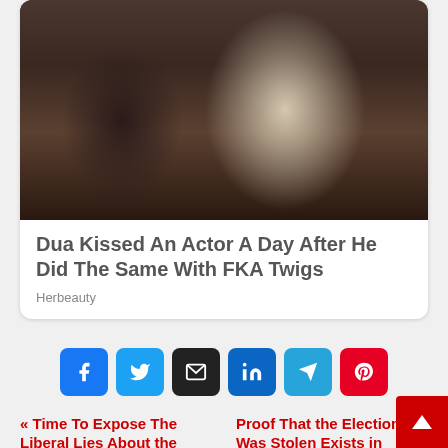[Figure (photo): Two people wearing face masks walking outdoors at night near a vehicle. Person on left wears dark clothing and a hat with a crossbody bag; person on right wears a light floral top with a purple/blue wrap.]
Dua Kissed An Actor A Day After He Did The Same With FKA Twigs
Herbeauty
[Figure (infographic): Row of six social share buttons: Facebook (blue), Twitter (light blue), Email (black), LinkedIn (dark blue), Telegram (blue), Pinterest (red)]
« Time To Expose The Liberal Lies About the “Capitol
Proof That the Election Was Stolen Exists in